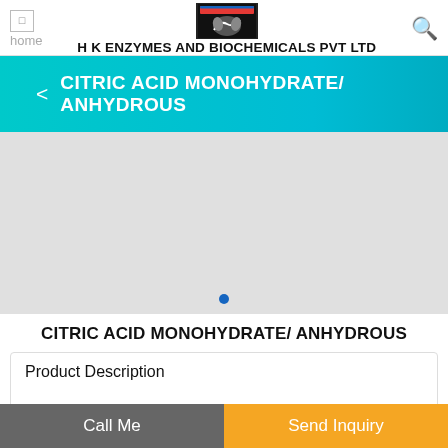home | H K ENZYMES AND BIOCHEMICALS PVT LTD
CITRIC ACID MONOHYDRATE/ ANHYDROUS
[Figure (photo): Gray product image placeholder area with a single blue dot indicator at the bottom]
CITRIC ACID MONOHYDRATE/ ANHYDROUS
Product Description
Call Me | Send Inquiry